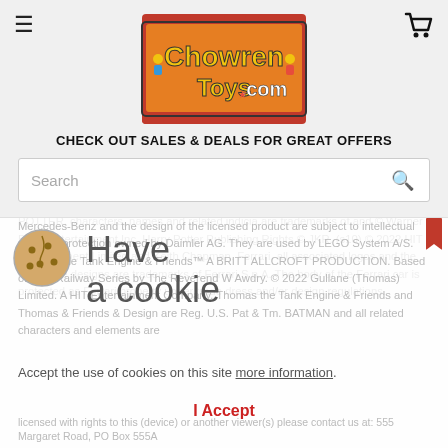[Figure (logo): ChowrenToys.com logo — brick-style rectangular logo with orange/red background, yellow text 'Chowren' and 'Toys.com' with LEGO-style minifigure icons]
CHECK OUT SALES & DEALS FOR GREAT OFFERS
POTTER, characters, names and related indicia are trademarks of and © Warner Bros. Entertainment Inc. Harry Potter Publishing Rights © JKR. (s10) © 2022 HIT Entertainment Limited and Keith Chapman. Ferrari, all associated logos and the distinctive designs are trademarks of Ferrari S.p.A. The body of the Ferrari car is protected as Ferrari property under trade dress and/or design regulations. Mercedes-Benz and the design of the licensed product are subject to intellectual property protection owned by Daimler AG. They are used by LEGO System A/S. Thomas the Tank Engine & Friends™ A BRITT ALLCROFT PRODUCTION. Based on The Railway Series by The Reverend W Awdry. © 2022 Gullane (Thomas) Limited. A HIT Entertainment Company. Thomas the Tank Engine & Friends and Thomas & Friends & Design are Reg. U.S. Pat & Tm. BATMAN and all related characters and elements are
[Figure (infographic): Cookie consent overlay with cookie icon, 'Have a cookie' heading text, body text about accepting cookie use on this site, 'more information' link, and 'I Accept' red button]
Accept the use of cookies on this site more information
I Accept